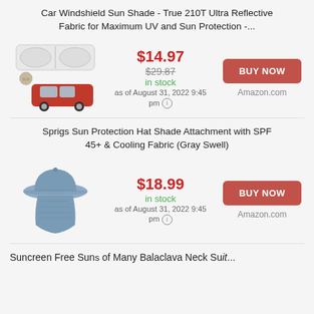Car Windshield Sun Shade - True 210T Ultra Reflective Fabric for Maximum UV and Sun Protection -...
[Figure (photo): Product image of a car windshield sun shade accordion-style reflective shade shown with a red sedan car]
$14.97
$29.87 (strikethrough)
in stock
as of August 31, 2022 9:45 pm
BUY NOW
Amazon.com
Sprigs Sun Protection Hat Shade Attachment with SPF 45+ & Cooling Fabric (Gray Swell)
[Figure (photo): Product image of a gray sun protection hat with neck shade flap attachment]
$18.99
in stock
as of August 31, 2022 9:45 pm
BUY NOW
Amazon.com
Suncreen Free Suns of Many Balaclava Neck Suit...